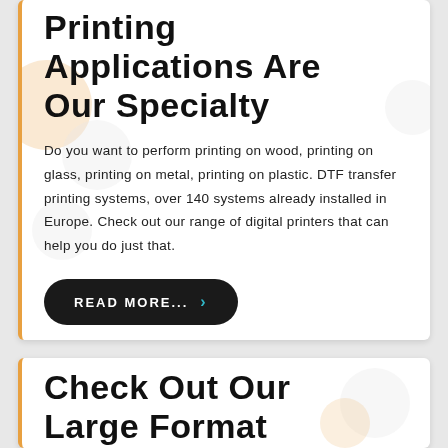Printing Applications Are Our Specialty
Do you want to perform printing on wood, printing on glass, printing on metal, printing on plastic. DTF transfer printing systems, over 140 systems already installed in Europe. Check out our range of digital printers that can help you do just that.
READ MORE...
Check Out Our Large Format